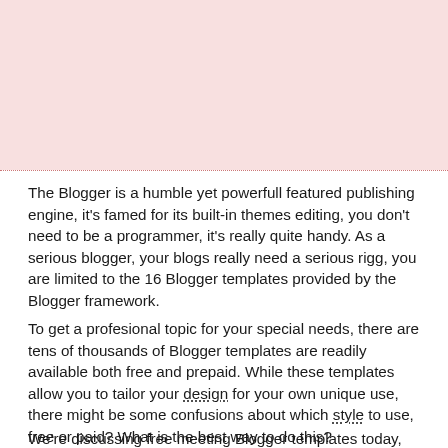[Figure (other): Pink/light rose colored blank rectangular image block at the top of the page]
The Blogger is a humble yet powerfull featured publishing engine, it's famed for its built-in themes editing, you don't need to be a programmer, it's really quite handy. As a serious blogger, your blogs really need a serious rigg, you are limited to the 16 Blogger templates provided by the Blogger framework.
To get a profesional topic for your special needs, there are tens of thousands of Blogger templates are readily available both free and prepaid. While these templates allow you to tailor your design for your own unique use, there might be some confusions about which style to use, free or paid? What is the best way to do this?
We're discussing free meeting Blogger templates today, free